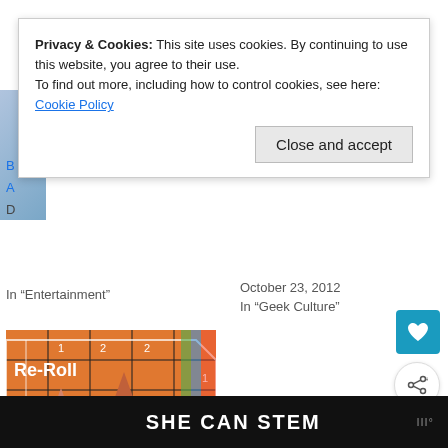Privacy & Cookies: This site uses cookies. By continuing to use this website, you agree to their use.
To find out more, including how to control cookies, see here: Cookie Policy
Close and accept
In "Entertainment"
October 23, 2012
In "Geek Culture"
[Figure (photo): Re-Roll board game image with orange cones on a grid board, text overlay 'Re-Roll']
Re-Roll: This Week's Tabletop Game News for the Week Ending October 8, 2021
October 8, 2021
In "Featured"
SHE CAN STEM